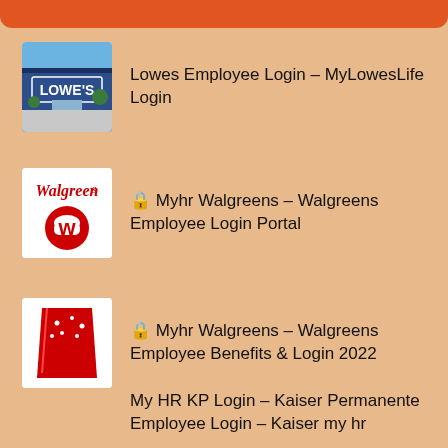Lowes Employee Login – MyLowesLife Login
🔒 Myhr Walgreens – Walgreens Employee Login Portal
🔒 Myhr Walgreens – Walgreens Employee Benefits & Login 2022
My HR KP Login – Kaiser Permanente Employee Login – Kaiser my hr